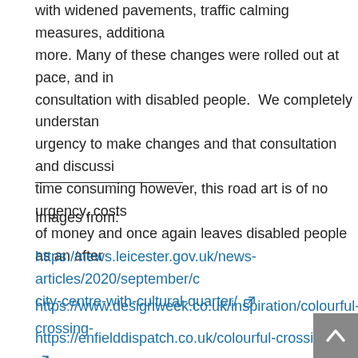with widened pavements, traffic calming measures, additiona more. Many of these changes were rolled out at pace, and in consultation with disabled people.  We completely understan urgency to make changes and that consultation and discussi time consuming however, this road art is of no urgency, costs of money and once again leaves disabled people as an after
Images from:
https://news.leicester.gov.uk/news-articles/2020/september/c city-centre-with-cultural-quarter/ [external link]
https://www.designweek.co.uk/inspiration/colourful-crossing-
https://enfielddispatch.co.uk/colourful-crossings/ [external link]